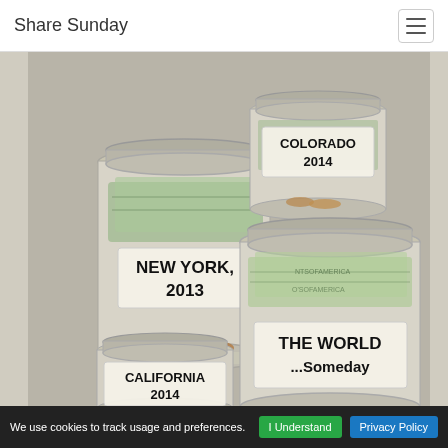Share Sunday
[Figure (photo): Four mason jars filled with money (bills and coins), each labeled with a destination and year: 'NEW YORK 2013', 'COLORADO 2014', 'CALIFORNIA 2014', and 'THE WORLD ...Someday'. The jars are stacked and arranged as savings goals for future travel.]
We use cookies to track usage and preferences.
I Understand
Privacy Policy